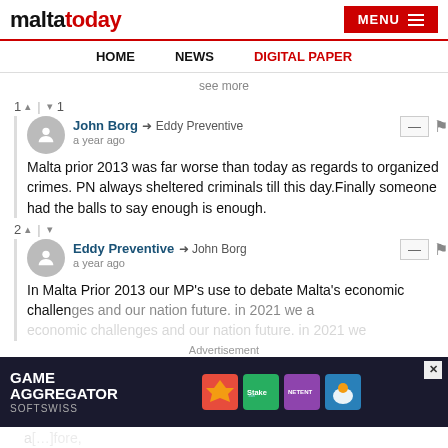maltatoday | MENU
HOME  NEWS  DIGITAL PAPER
see more
1 ▲ | ▼ 1
John Borg → Eddy Preventive
a year ago
Malta prior 2013 was far worse than today as regards to organized crimes. PN always sheltered criminals till this day.Finally someone had the balls to say enough is enough.
2 ▲ | ▼
Eddy Preventive → John Borg
a year ago
In Malta Prior 2013 our MP's use to debate Malta's economic challenges and our nation future. in 2021 we a[…]fore, s[…]thanks
Advertisement
[Figure (screenshot): Game Aggregator SoftSwiss advertisement banner with colorful casino game logos]